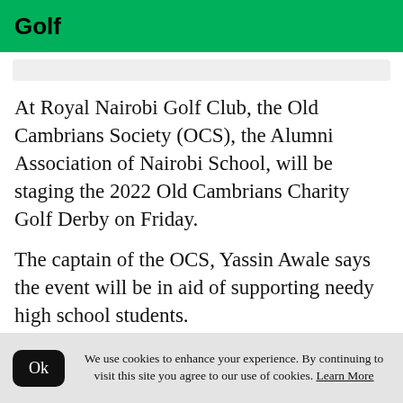Golf
At Royal Nairobi Golf Club, the Old Cambrians Society (OCS), the Alumni Association of Nairobi School, will be staging the 2022 Old Cambrians Charity Golf Derby on Friday.
The captain of the OCS, Yassin Awale says the event will be in aid of supporting needy high school students.
Awale said the society has managed to support
We use cookies to enhance your experience. By continuing to visit this site you agree to our use of cookies. Learn More